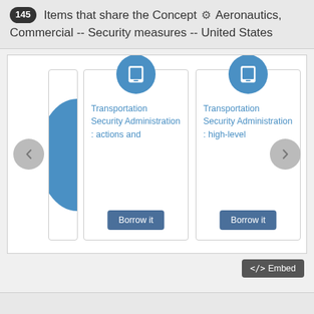145 Items that share the Concept ⚙ Aeronautics, Commercial -- Security measures -- United States
[Figure (screenshot): Carousel of library catalog items with two visible cards: 'Transportation Security Administration : actions and' and 'Transportation Security Administration : high-level', each with a tablet icon and 'Borrow it' button. Left/right navigation arrows flank the cards. A partial card is visible on the left edge.]
Transportation Security Administration : actions and
Transportation Security Administration : high-level
</> Embed